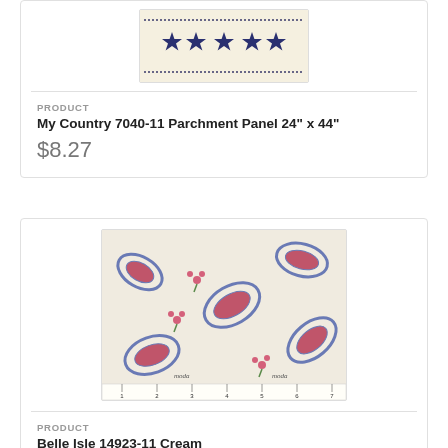[Figure (photo): Fabric swatch showing a parchment panel with blue stars on a cream/tan background, with dotted border lines above and below the stars row.]
PRODUCT
My Country 7040-11 Parchment Panel 24" x 44"
$8.27
[Figure (photo): Fabric swatch of Belle Isle 14923-11 Cream, showing a cream background covered with blue/navy paisley shapes and pink floral clusters, with a ruler along the bottom edge and Moda branding.]
PRODUCT
Belle Isle 14923-11 Cream